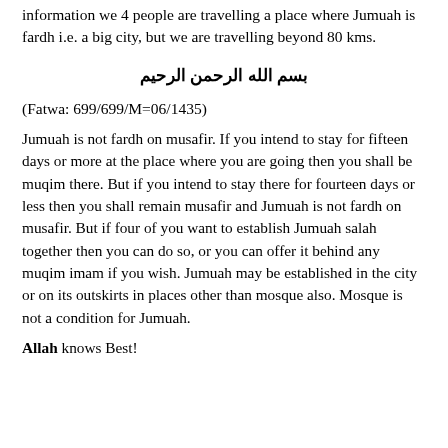information we 4 people are travelling a place where Jumuah is fardh i.e. a big city, but we are travelling beyond 80 kms.
بسم الله الرحمن الرحيم
(Fatwa: 699/699/M=06/1435)
Jumuah is not fardh on musafir. If you intend to stay for fifteen days or more at the place where you are going then you shall be muqim there. But if you intend to stay there for fourteen days or less then you shall remain musafir and Jumuah is not fardh on musafir. But if four of you want to establish Jumuah salah together then you can do so, or you can offer it behind any muqim imam if you wish. Jumuah may be established in the city or on its outskirts in places other than mosque also. Mosque is not a condition for Jumuah.
Allah knows Best!